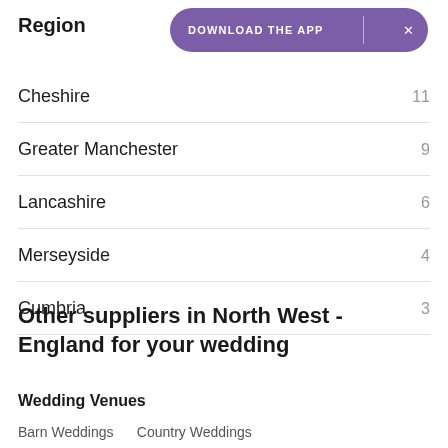Region
[Figure (other): Download the App banner button with purple background and close (x) button]
Cheshire   11
Greater Manchester   9
Lancashire   6
Merseyside   4
Cumbria   3
Other suppliers in North West - England for your wedding
Wedding Venues
Barn Weddings   Country Weddings